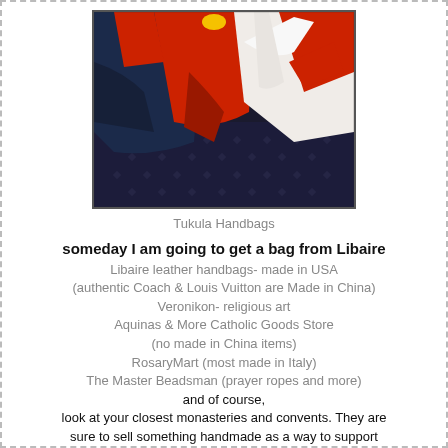[Figure (photo): Photo of colorful handbags/scarves in navy blue, red, and white colors arranged together on a dark surface]
Tukula Handbags
someday I am going to get a bag from Libaire
Libaire leather handbags- made in USA
(authentic Coach & Louis Vuitton are Made in China)
Veronikon- religious art
Aquinas & More Catholic Goods Store
(no made in China items)
RosaryMart (most made in Italy)
The Master Beadsman (prayer ropes and more)
and of course,
look at your closest monasteries and convents. They are sure to sell something handmade as a way to support